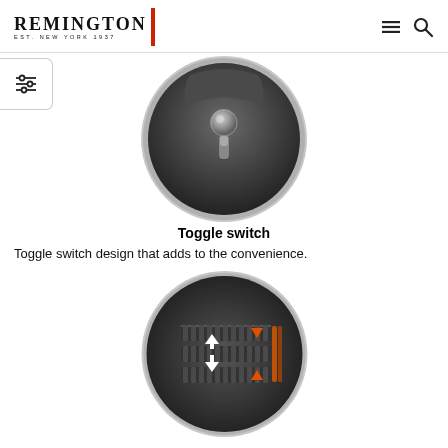Remington EST. NEW YORK 1937
[Figure (photo): Close-up circular product photo of a toggle switch on a Remington grooming device, dark metallic surface with a silver button and toggle lever]
Toggle switch
Toggle switch design that adds to the convenience.
[Figure (photo): Close-up circular product photo of Remington clipper blades mechanism with white and orange arrows indicating blade movement directions, dark background]